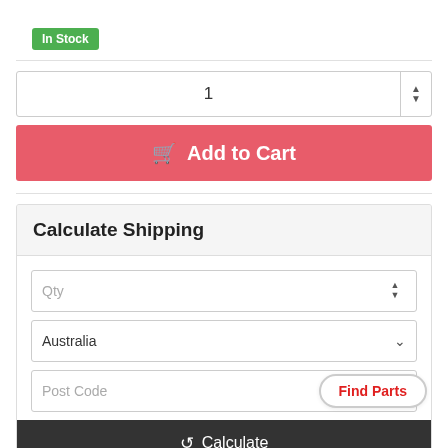In Stock
1
Add to Cart
Calculate Shipping
Qty
Australia
Post Code
Find Parts
Calculate